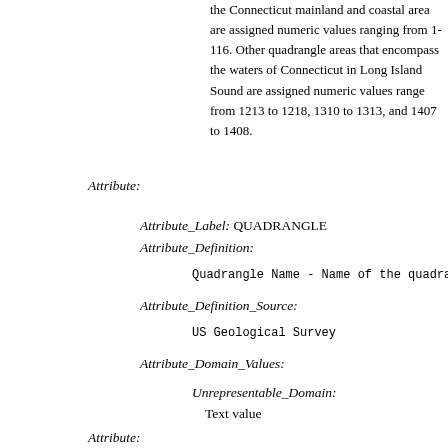the Connecticut mainland and coastal area are assigned numeric values ranging from 1-116. Other quadrangle areas that encompass the waters of Connecticut in Long Island Sound are assigned numeric values range from 1213 to 1218, 1310 to 1313, and 1407 to 1408.
Attribute:
Attribute_Label: QUADRANGLE
Attribute_Definition:
Quadrangle Name - Name of the quadra
Attribute_Definition_Source:
US Geological Survey
Attribute_Domain_Values:
Unrepresentable_Domain:
Text value
Attribute:
Attribute_Label: SHAPE